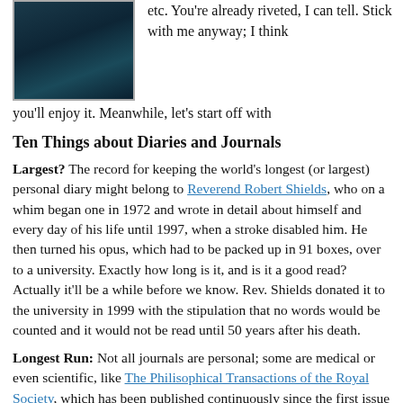[Figure (photo): Dark underwater or nature photo, teal/dark blue tones, at the top left of the page]
etc. You're already riveted, I can tell. Stick with me anyway; I think you'll enjoy it. Meanwhile, let's start off with
Ten Things about Diaries and Journals
Largest? The record for keeping the world's longest (or largest) personal diary might belong to Reverend Robert Shields, who on a whim began one in 1972 and wrote in detail about himself and every day of his life until 1997, when a stroke disabled him. He then turned his opus, which had to be packed up in 91 boxes, over to a university. Exactly how long is it, and is it a good read? Actually it'll be a while before we know. Rev. Shields donated it to the university in 1999 with the stipulation that no words would be counted and it would not be read until 50 years after his death.
Longest Run: Not all journals are personal; some are medical or even scientific, like The Philisophical Transactions of the Royal Society, which has been published continuously since the first issue came out in 1665. Contributors to the